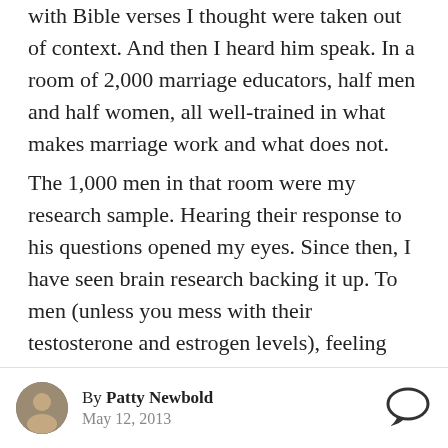with Bible verses I thought were taken out of context. And then I heard him speak. In a room of 2,000 marriage educators, half men and half women, all well-trained in what makes marriage work and what does not. The 1,000 men in that room were my research sample. Hearing their response to his questions opened my eyes. Since then, I have seen brain research backing it up. To men (unless you mess with their testosterone and estrogen levels), feeling loved means feeling respected, not cherished. And just as women who stop feeling cherished often lose respect for their...
By Patty Newbold
May 12, 2013